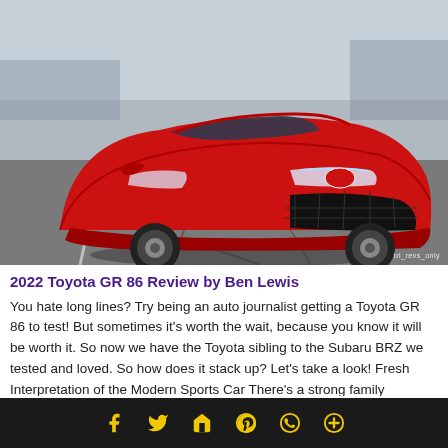[Figure (photo): Red Toyota GR 86 sports car photographed in a parking lot, front three-quarter view, with marina/harbor visible in background. Watermark reads trl_revs_only.]
2022 Toyota GR 86 Review by Ben Lewis
You hate long lines? Try being an auto journalist getting a Toyota GR 86 to test! But sometimes it's worth the wait, because you know it will be worth it. So now we have the Toyota sibling to the Subaru BRZ we tested and loved. So how does it stack up? Let's take a look! Fresh Interpretation of the Modern Sports Car There's a strong family resemblance between the GR 86 and previous
[social icons: Facebook, Twitter, Share/Home, Pinterest, WhatsApp, Plus]